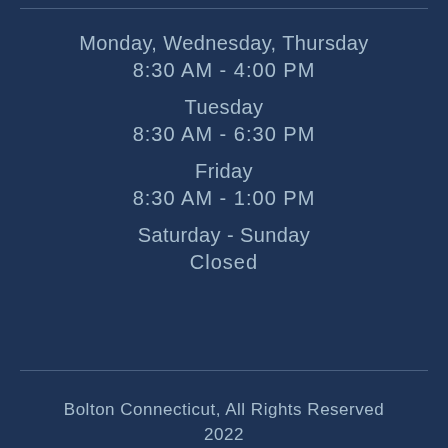Monday, Wednesday, Thursday
8:30 AM - 4:00 PM
Tuesday
8:30 AM - 6:30 PM
Friday
8:30 AM - 1:00 PM
Saturday - Sunday
Closed
Bolton Connecticut, All Rights Reserved 2022
Website by Aptuitiv
Powered by Branch CMS